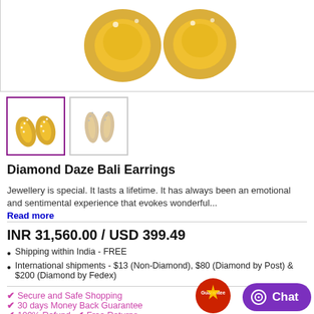[Figure (photo): Main product image showing Diamond Daze Bali Earrings in gold with diamond details, top view]
[Figure (photo): Thumbnail 1 (selected): Diamond Daze Bali Earrings - gold with white diamonds, front view]
[Figure (photo): Thumbnail 2: Diamond Daze Bali Earrings - side/alternate view]
Diamond Daze Bali Earrings
Jewellery is special. It lasts a lifetime. It has always been an emotional and sentimental experience that evokes wonderful...
Read more
INR 31,560.00 / USD 399.49
Shipping within India - FREE
International shipments - $13 (Non-Diamond), $80 (Diamond by Post) & $200 (Diamond by Fedex)
Secure and Safe Shopping
30 days Money Back Guarantee
100% Refund   Free Returns
[Figure (other): Chat button - purple rounded rectangle with chat icon and text 'Chat']
[Figure (other): Guarantee badge - red circular emblem at bottom right]